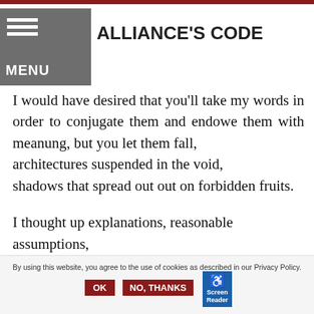ALLIANCE'S CODE
I would have desired that you'll take my words in order to conjugate them and endowe them with meanung, but you let them fall,
architectures suspended in the void,
shadows that spread out out on forbidden fruits.

I thought up explanations, reasonable assumptions,
questions without answer, the meaning of things
I fearred like mirages in the soul's desert
By using this website, you agree to the use of cookies as described in our Privacy Policy.  OK  NO, THANKS  Screen Reader